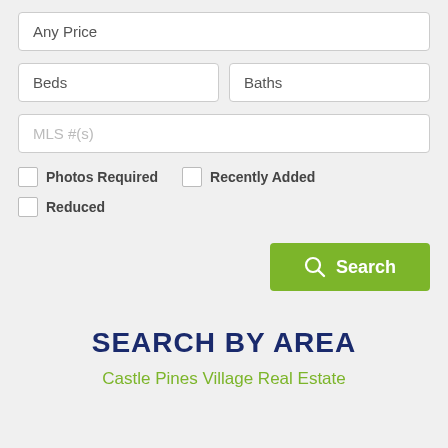Any Price
Beds
Baths
MLS #(s)
Photos Required
Recently Added
Reduced
Search
SEARCH BY AREA
Castle Pines Village Real Estate